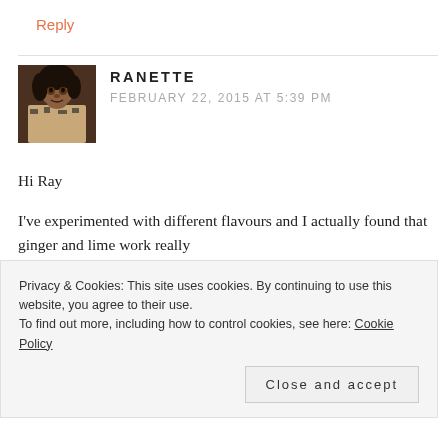Reply
[Figure (photo): Avatar photo of Ranette, a woman with dark hair and zebra-print top]
RANETTE
FEBRUARY 22, 2015 AT 5:39 PM
Hi Ray
I've experimented with different flavours and I actually found that ginger and lime work really
Privacy & Cookies: This site uses cookies. By continuing to use this website, you agree to their use.
To find out more, including how to control cookies, see here: Cookie Policy
Close and accept